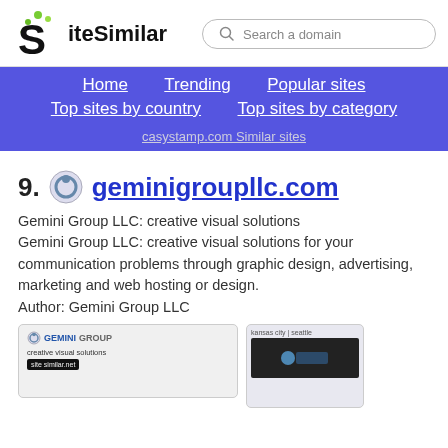SiteSimilar — Search a domain
Home  Trending  Popular sites  Top sites by country  Top sites by category
casystamp.com Similar sites
19. geminigroupllc.com
Gemini Group LLC: creative visual solutions
Gemini Group LLC: creative visual solutions for your communication problems through graphic design, advertising, marketing and web hosting or design.
Author: Gemini Group LLC
[Figure (screenshot): Screenshot of geminigroupllc.com website showing Gemini Group logo and 'creative visual solutions' text]